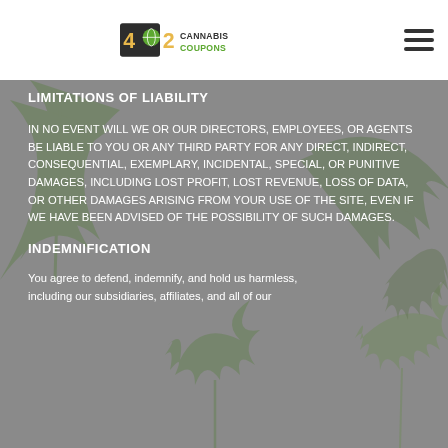[Figure (logo): 420 Cannabis Coupons logo with green leaf icon and text]
LIMITATIONS OF LIABILITY
IN NO EVENT WILL WE OR OUR DIRECTORS, EMPLOYEES, OR AGENTS BE LIABLE TO YOU OR ANY THIRD PARTY FOR ANY DIRECT, INDIRECT, CONSEQUENTIAL, EXEMPLARY, INCIDENTAL, SPECIAL, OR PUNITIVE DAMAGES, INCLUDING LOST PROFIT, LOST REVENUE, LOSS OF DATA, OR OTHER DAMAGES ARISING FROM YOUR USE OF THE SITE, EVEN IF WE HAVE BEEN ADVISED OF THE POSSIBILITY OF SUCH DAMAGES.
INDEMNIFICATION
You agree to defend, indemnify, and hold us harmless, including our subsidiaries, affiliates, and all of our